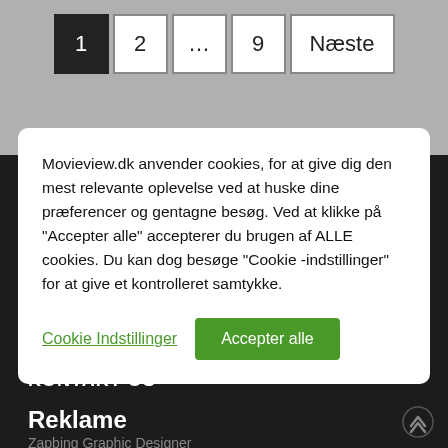1 2 ... 9 Næste
Movieview.dk anvender cookies, for at give dig den mest relevante oplevelse ved at huske dine præferencer og gentagne besøg. Ved at klikke på "Accepter alle" accepterer du brugen af ALLE cookies. Du kan dog besøge "Cookie -indstillinger" for at give et kontrolleret samtykke.
Cookie Indstillinger   Accepter alle
KONTAKT OS
Reklame
Zapbing Graphic Designer